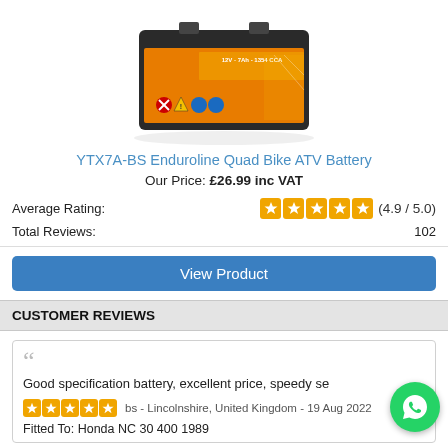[Figure (photo): YTX7A-BS Enduroline Quad Bike ATV Battery product photo showing a black battery with orange label and warning symbols]
YTX7A-BS Enduroline Quad Bike ATV Battery
Our Price: £26.99 inc VAT
Average Rating: (4.9 / 5.0)
Total Reviews: 102
View Product
CUSTOMER REVIEWS
Good specification battery, excellent price, speedy se
bs - Lincolnshire, United Kingdom - 19 Aug 2022
Fitted To: Honda NC 30 400 1989